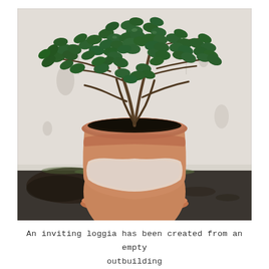[Figure (photo): A jade plant (Crassula ovata) in a weathered terracotta pot with saucer, sitting on a dark surface against a white/grey stone or concrete wall. Soil is scattered around the base of the pot.]
An inviting loggia has been created from an empty outbuilding